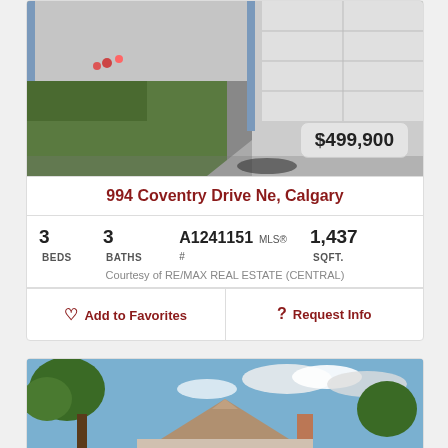[Figure (photo): Exterior photo of a house showing green lawn and white garage door]
$499,900
994 Coventry Drive Ne, Calgary
3 BEDS   3 BATHS   A1241151 MLS® #   1,437 SQFT.
Courtesy of RE/MAX REAL ESTATE (CENTRAL)
Add to Favorites
Request Info
[Figure (photo): Exterior photo of a house roof with blue sky and trees]